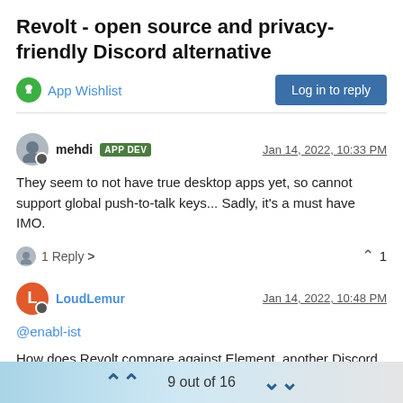Revolt - open source and privacy-friendly Discord alternative
App Wishlist
Log in to reply
mehdi APP DEV  Jan 14, 2022, 10:33 PM
They seem to not have true desktop apps yet, so cannot support global push-to-talk keys... Sadly, it's a must have IMO.
1 Reply > ^ 1
LoudLemur  Jan 14, 2022, 10:48 PM
@enabl-ist
How does Revolt compare against Element, another Discord
9 out of 16